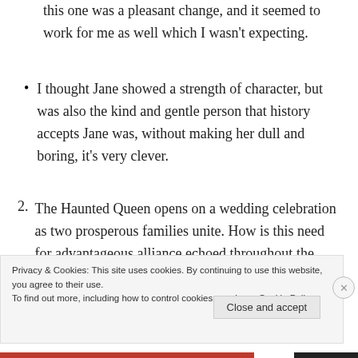this one was a pleasant change, and it seemed to work for me as well which I wasn't expecting.
I thought Jane showed a strength of character, but was also the kind and gentle person that history accepts Jane was, without making her dull and boring, it's very clever.
2. The Haunted Queen opens on a wedding celebration as two prosperous families unite. How is this need for advantageous alliance echoed throughout the novel? As a child, Jane feels safe and content with her loving family and apparently
Privacy & Cookies: This site uses cookies. By continuing to use this website, you agree to their use. To find out more, including how to control cookies, see here: Cookie Policy
Close and accept